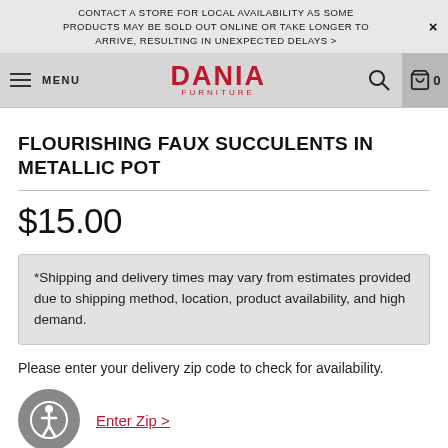CONTACT A STORE FOR LOCAL AVAILABILITY AS SOME PRODUCTS MAY BE SOLD OUT ONLINE OR TAKE LONGER TO ARRIVE, RESULTING IN UNEXPECTED DELAYS >
[Figure (screenshot): Dania Furniture navigation header with hamburger menu, DANIA FURNITURE logo in red, search icon, and shopping cart icon with 0 items]
FLOURISHING FAUX SUCCULENTS IN METALLIC POT
$15.00
*Shipping and delivery times may vary from estimates provided due to shipping method, location, product availability, and high demand.
Please enter your delivery zip code to check for availability.
Enter Zip >
Qty